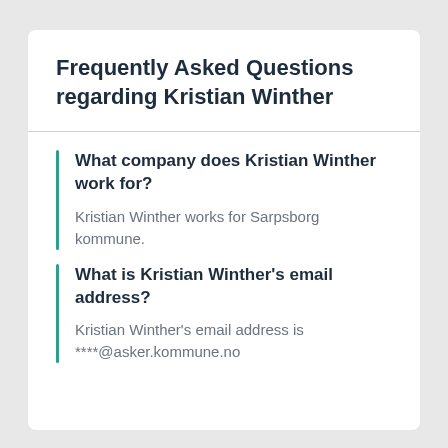Frequently Asked Questions regarding Kristian Winther
What company does Kristian Winther work for?
Kristian Winther works for Sarpsborg kommune.
What is Kristian Winther's email address?
Kristian Winther's email address is ****@asker.kommune.no